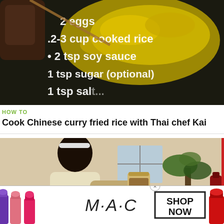[Figure (photo): Video thumbnail showing a pan with scrambled eggs and fried rice, with text overlay listing ingredients: 2 eggs, 2-3 cup cooked rice, 2 tsp soy sauce, 1 tsp sugar (optional), 1 tsp salt]
HOW TO
Cook Chinese curry fried rice with Thai chef Kai
[Figure (photo): Video thumbnail showing a person (wearing white top and headband) using a blender in a kitchen, with a plant and red bottle visible on the table]
[Figure (photo): Advertisement banner for MAC cosmetics showing lipsticks, MAC logo, and a SHOP NOW button]